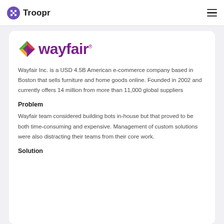Troopr
[Figure (logo): Wayfair logo with colorful diamond/cross icon and purple 'wayfair' wordmark]
Wayfair Inc. is a USD 4.5B American e-commerce company based in Boston that sells furniture and home goods online. Founded in 2002 and currently offers 14 million from more than 11,000 global suppliers
Problem
Wayfair team considered building bots in-house but that proved to be both time-consuming and expensive. Management of custom solutions were also distracting their teams from their core work.
Solution